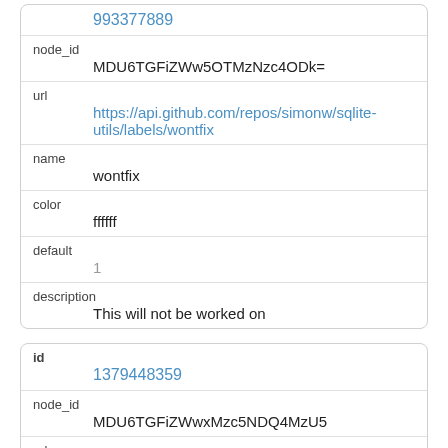993377889
node_id
MDU6TGFiZWw5OTMzNzc4ODk=
url
https://api.github.com/repos/simonw/sqlite-utils/labels/wontfix
name
wontfix
color
ffffff
default
1
description
This will not be worked on
id
1379448359
node_id
MDU6TGFiZWwxMzc5NDQ4MzU5
url